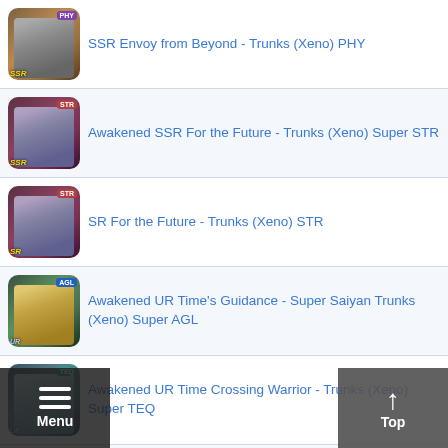SSR Envoy from Beyond - Trunks (Xeno) PHY
Awakened SSR For the Future - Trunks (Xeno) Super STR
SR For the Future - Trunks (Xeno) STR
Awakened UR Time's Guidance - Super Saiyan Trunks (Xeno) Super AGL
Awakened UR Time Crossing Warrior - Trunks (Xeno) Super TEQ
SSR Time Crossing Warrior - Trunks (Xeno) Super TEQ
Awakened UR Battle in Another World - Trunks (Xeno) Super PHY